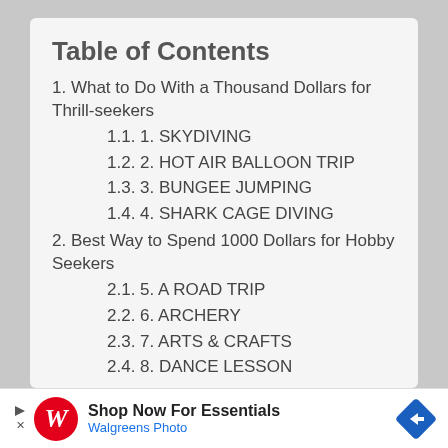Table of Contents
1. What to Do With a Thousand Dollars for Thrill-seekers
1.1. 1. SKYDIVING
1.2. 2. HOT AIR BALLOON TRIP
1.3. 3. BUNGEE JUMPING
1.4. 4. SHARK CAGE DIVING
2. Best Way to Spend 1000 Dollars for Hobby Seekers
2.1. 5. A ROAD TRIP
2.2. 6. ARCHERY
2.3. 7. ARTS & CRAFTS
2.4. 8. DANCE LESSON
3. Things to Buy With 1000 Dollars for
Shop Now For Essentials Walgreens Photo